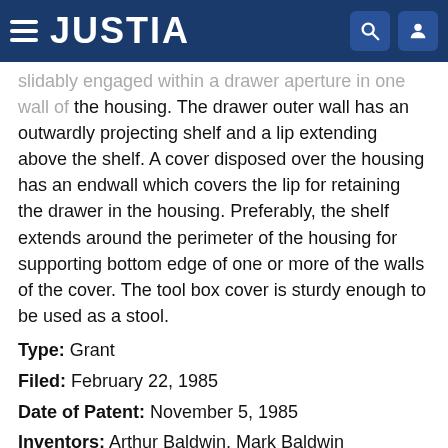JUSTIA
slidably engaged within a drawer aperture in one wall of the housing. The drawer outer wall has an outwardly projecting shelf and a lip extending above the shelf. A cover disposed over the housing has an endwall which covers the lip for retaining the drawer in the housing. Preferably, the shelf extends around the perimeter of the housing for supporting bottom edge of one or more of the walls of the cover. The tool box cover is sturdy enough to be used as a stool.
Type: Grant
Filed: February 22, 1985
Date of Patent: November 5, 1985
Inventors: Arthur Baldwin, Mark Baldwin
PREV 1 2 3 4 NEXT